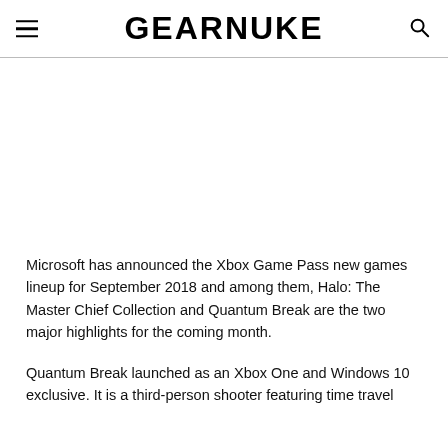GEARNUKE
[Figure (photo): Article header image placeholder (white/blank area)]
Microsoft has announced the Xbox Game Pass new games lineup for September 2018 and among them, Halo: The Master Chief Collection and Quantum Break are the two major highlights for the coming month.
Quantum Break launched as an Xbox One and Windows 10 exclusive. It is a third-person shooter featuring time travel